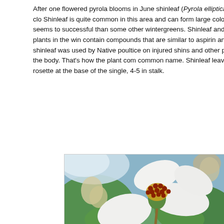After one flowered pyrola blooms in June shinleaf (Pyrola elliptica) follows clo... Shinleaf is quite common in this area and can form large colonies. It seems to... successful than some other wintergreens. Shinleaf and other plants in the win... contain compounds that are similar to aspirin and shinleaf was used by Native... poultice on injured shins and other parts of the body. That's how the plant com... common name. Shinleaf leaves form a rosette at the base of the single, 4-5 in... stalk.
[Figure (photo): Close-up photograph of shinleaf (Pyrola elliptica) flowers showing white petals and orange-red stamens against a blurred green and blue background.]